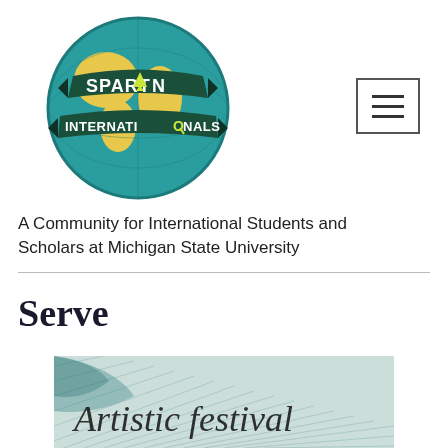[Figure (logo): Spartan Internationals circular logo: teal globe with yellow continents, dark teal ribbon banner reading SPARTAN INTERNATIONALS with a yellow navigation pin replacing the A in SPARTAN and a yellow Q replacing the O in INTERNATIONALS]
A Community for International Students and Scholars at Michigan State University
Serve
[Figure (photo): Partial view of a decorative image with teal watercolor/sketch background and cursive script text (partially visible), appearing to be an event or artistic flyer]